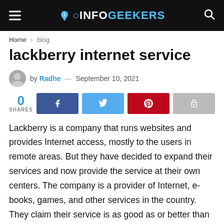INFOGEEKERS
Home > blog
lackberry internet service
by Radhe — September 10, 2021
0 SHARES
Lackberry is a company that runs websites and provides Internet access, mostly to the users in remote areas. But they have decided to expand their services and now provide the service at their own centers. The company is a provider of Internet, e-books, games, and other services in the country. They claim their service is as good as or better than any other internet service provider.